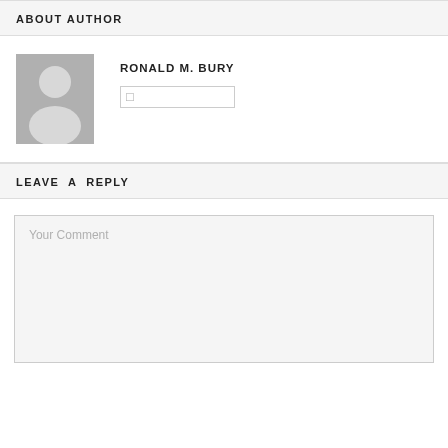ABOUT AUTHOR
[Figure (illustration): Generic grey silhouette avatar placeholder image for author photo]
RONALD M. BURY
LEAVE A REPLY
Your Comment